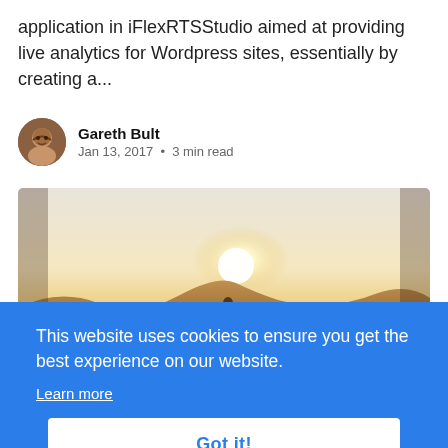application in iFlexRTSStudio aimed at providing live analytics for Wordpress sites, essentially by creating a...
Gareth Bult
Jan 13, 2017 • 3 min read
[Figure (photo): Desert landscape photo with sandy dunes and bright sky, a silhouette of a person visible in the distance]
This website uses cookies to ensure you get the best experience on our website. Learn more
Got it!
CROSSBAR.IO
iFlexRTSStudio Walkthru II
For part 4 I'm running through some of the guts of the